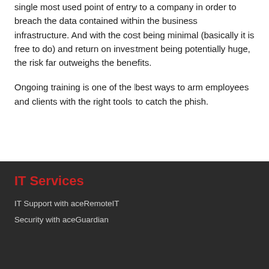single most used point of entry to a company in order to breach the data contained within the business infrastructure. And with the cost being minimal (basically it is free to do) and return on investment being potentially huge, the risk far outweighs the benefits.
Ongoing training is one of the best ways to arm employees and clients with the right tools to catch the phish.
IT Services
IT Support with aceRemoteIT
Security with aceGuardian